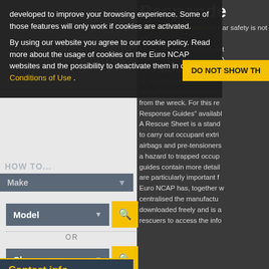developed to improve your browsing experience. Some of those features will only work if cookies are activated. By using our website you agree to our cookie policy. Read more about the usage of cookies on the Euro NCAP websites and the possibility to deactivate them in our Conditions of Use .
[Figure (screenshot): DO NOT SHOW TH button (yellow/gold)]
HOW TO...
Euro NCAP launche... car safety is not on... promoting driver assistant... better post-crash safety...
it has become increasingly... of an accident. Interventio... straightforward informatio... from the wreck. For this re... Response Guides available... A Rescue Sheet is a stand... to carry out occupant extri... airbags and pre-tensioners... a hazard to trapped occup... guides contain more detail... are particularly important f... Euro NCAP has, together w... centralised the manufactu... downloaded freely and is a... rescuers to access the info...
Make
Model
OR
Class
OR
ALL RESULTS & REWARDS
Contact info